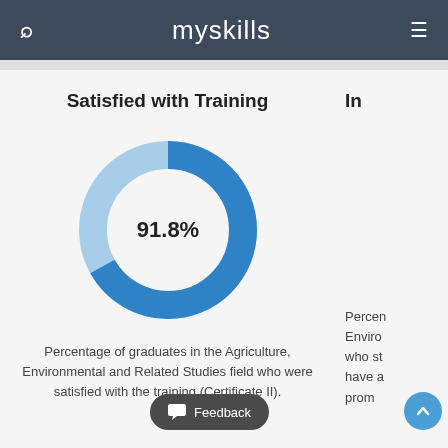myskills
Satisfied with Training
[Figure (donut-chart): Satisfied with Training]
Percentage of graduates in the Agriculture, Environmental and Related Studies field who were satisfied with the training (Certificate II).
In
Percen... Enviro... who st... have a... prom...